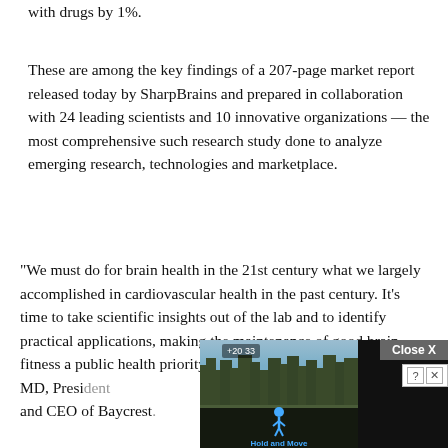with drugs by 1%.
These are among the key findings of a 207-page market report released today by SharpBrains and prepared in collaboration with 24 leading scientists and 10 innovative organizations — the most comprehensive such research study done to analyze emerging research, technologies and marketplace.
“We must do for brain health in the 21st century what we largely accomplished in cardiovascular health in the past century. It’s time to take scientific insights out of the lab and to identify practical applications, making the maintenance of good brain fitness a public health priority,” indicates William Reichman, MD, President and CEO of Baycrest.
[Figure (screenshot): Advertisement overlay at bottom right: dark background with 'Hold and Move' app icon, Close X button, and help/close icons. Partially overlaps article text.]